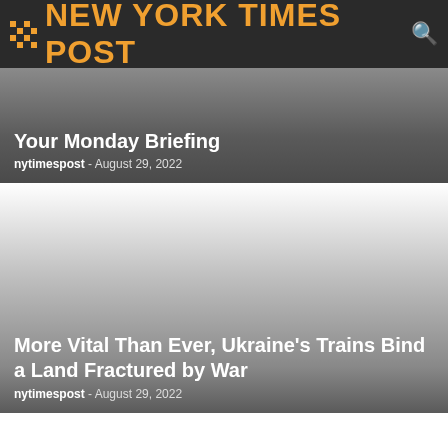NEW YORK TIMES POST
Your Monday Briefing
nytimespost - August 29, 2022
[Figure (photo): Large faded image area, gradient from white to dark gray, associated with Ukraine trains article]
More Vital Than Ever, Ukraine's Trains Bind a Land Fractured by War
nytimespost - August 29, 2022